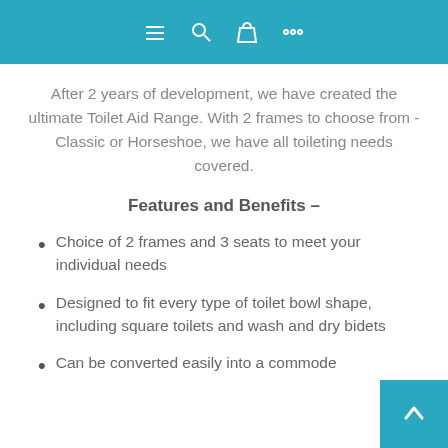Navigation bar with menu, search, cart, and more icons
After 2 years of development, we have created the ultimate Toilet Aid Range. With 2 frames to choose from - Classic or Horseshoe, we have all toileting needs covered.
Features and Benefits –
Choice of 2 frames and 3 seats to meet your individual needs
Designed to fit every type of toilet bowl shape, including square toilets and wash and dry bidets
Can be converted easily into a commode